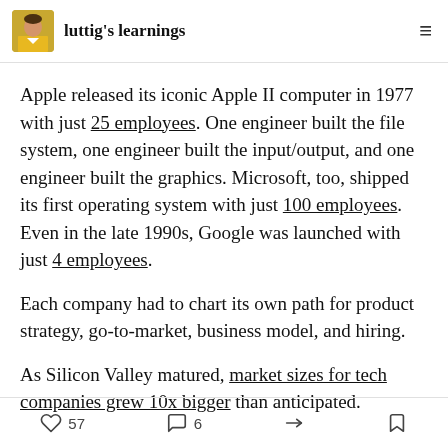luttig's learnings
Apple released its iconic Apple II computer in 1977 with just 25 employees. One engineer built the file system, one engineer built the input/output, and one engineer built the graphics. Microsoft, too, shipped its first operating system with just 100 employees. Even in the late 1990s, Google was launched with just 4 employees.
Each company had to chart its own path for product strategy, go-to-market, business model, and hiring.
As Silicon Valley matured, market sizes for tech companies grew 10x bigger than anticipated.
57 likes  6 comments  share  bookmark